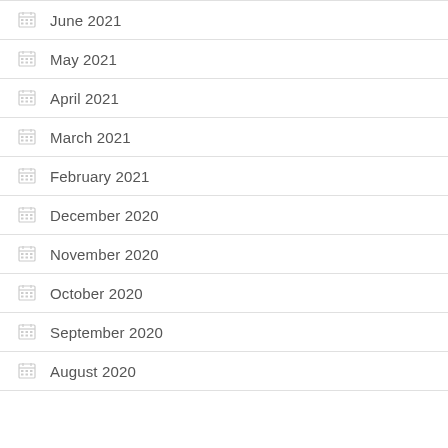June 2021
May 2021
April 2021
March 2021
February 2021
December 2020
November 2020
October 2020
September 2020
August 2020